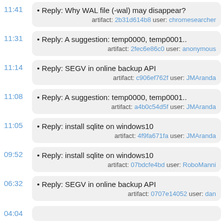11:41 • Reply: Why WAL file (-wal) may disappear? artifact: 2b31d614b8 user: chromesearcher
11:31 • Reply: A suggestion: temp0000, temp0001.. artifact: 2fec6e86c0 user: anonymous
11:14 • Reply: SEGV in online backup API artifact: c906ef762f user: JMAranda
11:08 • Reply: A suggestion: temp0000, temp0001.. artifact: a4b0c54d5f user: JMAranda
11:05 • Reply: install sqlite on windows10 artifact: 4f9fa671fa user: JMAranda
09:52 • Reply: install sqlite on windows10 artifact: 07bdcfe4bd user: RoboManni
06:32 • Reply: SEGV in online backup API artifact: 0707e14052 user: dan
04:04